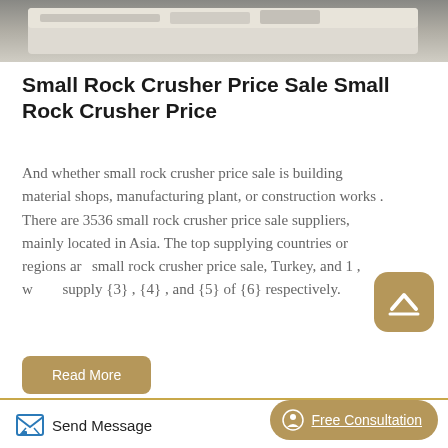[Figure (photo): Top portion of a photo showing what appears to be white/light colored machinery or equipment on a dark floor]
Small Rock Crusher Price Sale Small Rock Crusher Price
And whether small rock crusher price sale is building material shops, manufacturing plant, or construction works . There are 3536 small rock crusher price sale suppliers, mainly located in Asia. The top supplying countries or regions are small rock crusher price sale, Turkey, and 1 , which supply {3} , {4} , and {5} of {6} respectively.
[Figure (photo): Bottom portion of a photo showing trees/foliage through what appears to be a window with dark frames]
Send Message   Free Consultation